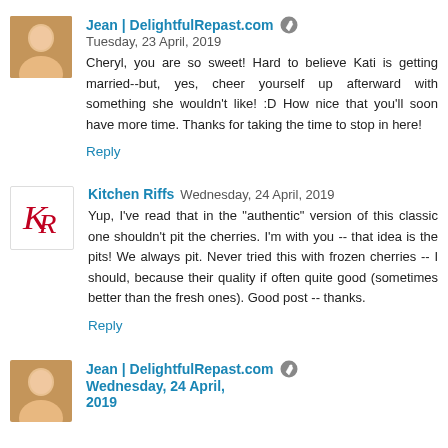Jean | DelightfulRepast.com 🖊 Tuesday, 23 April, 2019
Cheryl, you are so sweet! Hard to believe Kati is getting married--but, yes, cheer yourself up afterward with something she wouldn't like! :D How nice that you'll soon have more time. Thanks for taking the time to stop in here!
Reply
Kitchen Riffs Wednesday, 24 April, 2019
Yup, I've read that in the "authentic" version of this classic one shouldn't pit the cherries. I'm with you -- that idea is the pits! We always pit. Never tried this with frozen cherries -- I should, because their quality if often quite good (sometimes better than the fresh ones). Good post -- thanks.
Reply
Jean | DelightfulRepast.com 🖊 Wednesday, 24 April, 2019